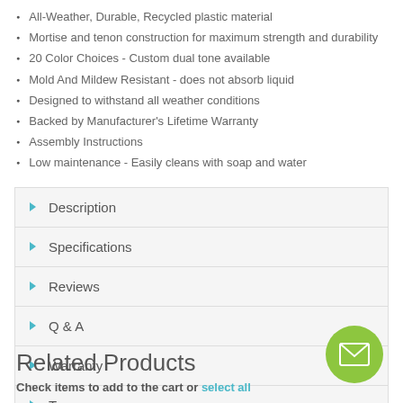All-Weather, Durable, Recycled plastic material
Mortise and tenon construction for maximum strength and durability
20 Color Choices - Custom dual tone available
Mold And Mildew Resistant - does not absorb liquid
Designed to withstand all weather conditions
Backed by Manufacturer's Lifetime Warranty
Assembly Instructions
Low maintenance - Easily cleans with soap and water
Description
Specifications
Reviews
Q & A
Warranty
Tags
Related Products
Check items to add to the cart or select all